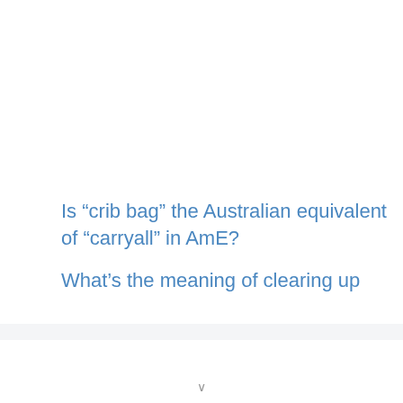Is “crib bag” the Australian equivalent of “carryall” in AmE?
What’s the meaning of clearing up